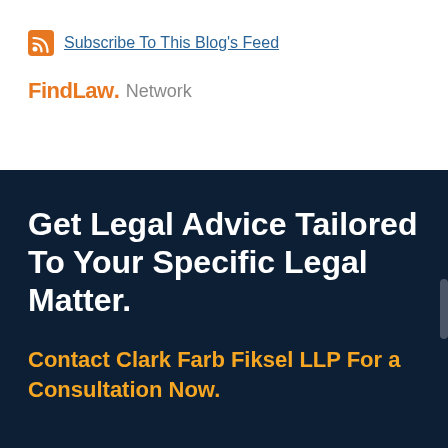Subscribe To This Blog's Feed
FindLaw. Network
Get Legal Advice Tailored To Your Specific Legal Matter.
Contact Clark Farb Fiksel LLP For a Consultation Now.